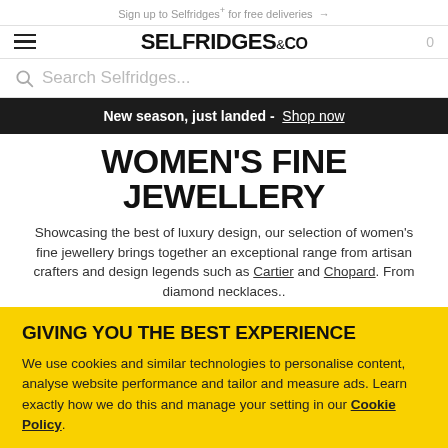Sign up to Selfridges+ for free deliveries →
[Figure (logo): Selfridges & Co logo with hamburger menu and cart icon]
Search Selfridges...
New season, just landed - Shop now
WOMEN'S FINE JEWELLERY
Showcasing the best of luxury design, our selection of women's fine jewellery brings together an exceptional range from artisan crafters and design legends such as Cartier and Chopard. From diamond necklaces..
GIVING YOU THE BEST EXPERIENCE
We use cookies and similar technologies to personalise content, analyse website performance and tailor and measure ads. Learn exactly how we do this and manage your setting in our Cookie Policy.
Manage cookies | Accept all